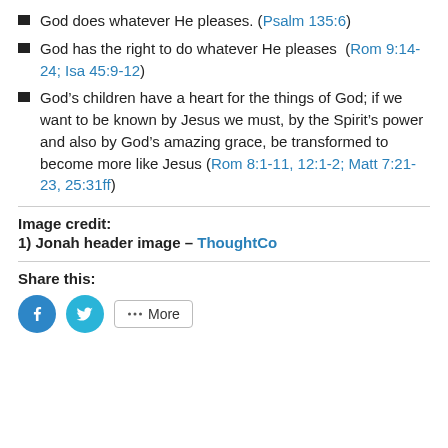God does whatever He pleases. (Psalm 135:6)
God has the right to do whatever He pleases  (Rom 9:14-24; Isa 45:9-12)
God’s children have a heart for the things of God; if we want to be known by Jesus we must, by the Spirit’s power and also by God’s amazing grace, be transformed to become more like Jesus (Rom 8:1-11, 12:1-2; Matt 7:21-23, 25:31ff)
Image credit:
1) Jonah header image – ThoughtCo
Share this: